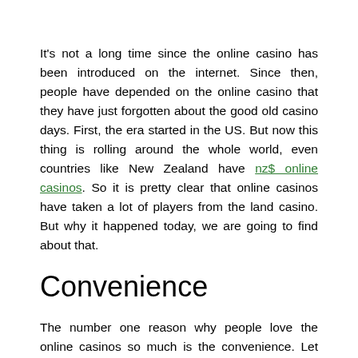It's not a long time since the online casino has been introduced on the internet. Since then, people have depended on the online casino that they have just forgotten about the good old casino days. First, the era started in the US. But now this thing is rolling around the whole world, even countries like New Zealand have nz$ online casinos. So it is pretty clear that online casinos have taken a lot of players from the land casino. But why it happened today, we are going to find about that.
Convenience
The number one reason why people love the online casinos so much is the convenience. Let me clear that for you. It is quite a tricky and time-wasting fact that when you are planning to go to any casino, you